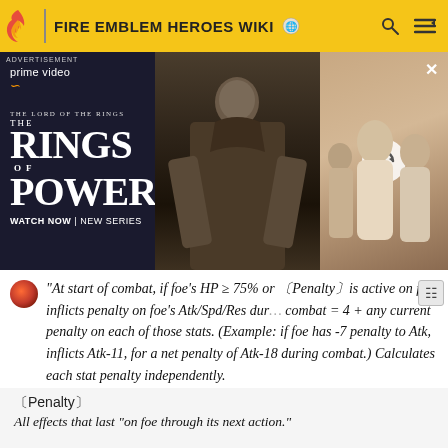FIRE EMBLEM HEROES WIKI
[Figure (photo): Advertisement for Amazon Prime Video: The Lord of the Rings: The Rings of Power. Shows a dark-cloaked figure and a group of people. Text reads: prime video, THE LORD OF THE RINGS, THE RINGS OF POWER, WATCH NOW | NEW SERIES]
"At start of combat, if foe's HP ≥ 75% or 〔Penalty〕is active on foe, inflicts penalty on foe's Atk/Spd/Res during combat = 4 + any current penalty on each of those stats. (Example: if foe has -7 penalty to Atk, inflicts Atk-11, for a net penalty of Atk-18 during combat.) Calculates each stat penalty independently.
〔Penalty〕
All effects that last "on foe through its next action."